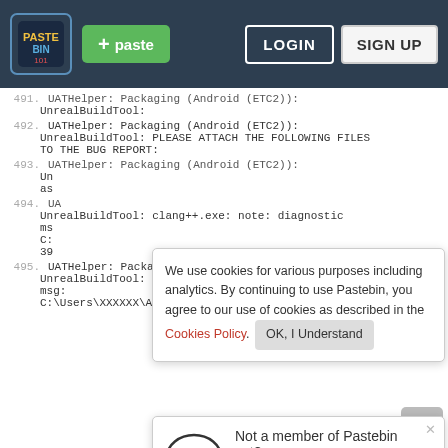[Figure (screenshot): Pastebin website navbar with logo, green paste button, LOGIN and SIGN UP buttons on dark background]
491. UATHelper: Packaging (Android (ETC2)):
     UnrealBuildTool:
492. UATHelper: Packaging (Android (ETC2)):
     UnrealBuildTool: PLEASE ATTACH THE FOLLOWING FILES
     TO THE BUG REPORT:
493. UATHelper: Packaging (Android (ETC2)):
     Un...
     as...
494. UA...
     UnrealBuildTool: clang++.exe: note: diagnostic
     ms...
     C:...
     39
495. UATHelper: Packaging (Android (ETC2)):
     UnrealBuildTool: clang++.exe: note: diagnostic
     msg:
     C:\Users\XXXXXX\AppData\Local\Temp\FMODEventControlS
We use cookies for various purposes including analytics. By continuing to use Pastebin, you agree to our use of cookies as described in the Cookies Policy.  OK, I Understand
Not a member of Pastebin yet?
Sign Up, it unlocks many cool features!